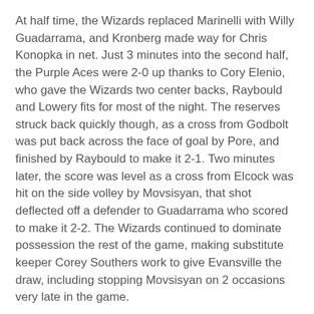At half time, the Wizards replaced Marinelli with Willy Guadarrama, and Kronberg made way for Chris Konopka in net. Just 3 minutes into the second half, the Purple Aces were 2-0 up thanks to Cory Elenio, who gave the Wizards two center backs, Raybould and Lowery fits for most of the night. The reserves struck back quickly though, as a cross from Godbolt was put back across the face of goal by Pore, and finished by Raybould to make it 2-1. Two minutes later, the score was level as a cross from Elcock was hit on the side volley by Movsisyan, that shot deflected off a defender to Guadarrama who scored to make it 2-2. The Wizards continued to dominate possession the rest of the game, making substitute keeper Corey Southers work to give Evansville the draw, including stopping Movsisyan on 2 occasions very late in the game.
3 Stars of the Game
1. Corey Southers - Evansville - Even though he only played a half, his play in that half, especially late in the game is what allowed Evansville to get a draw out of this game instead of a loss.
2. Edson Elcock - Wizards - Was the Wizards best player